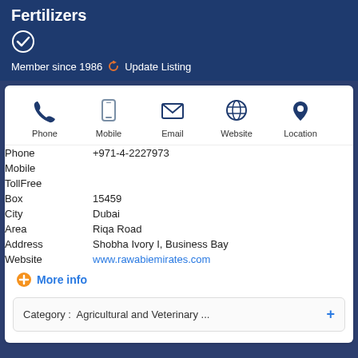Fertilizers
Member since 1986  Update Listing
[Figure (infographic): Row of contact icons: Phone, Mobile, Email, Website, Location]
| Phone | +971-4-2227973 |
| Mobile |  |
| TollFree |  |
| Box | 15459 |
| City | Dubai |
| Area | Riqa Road |
| Address | Shobha Ivory I, Business Bay |
| Website | www.rawabiemirates.com |
More info
Category :  Agricultural and Veterinary ...